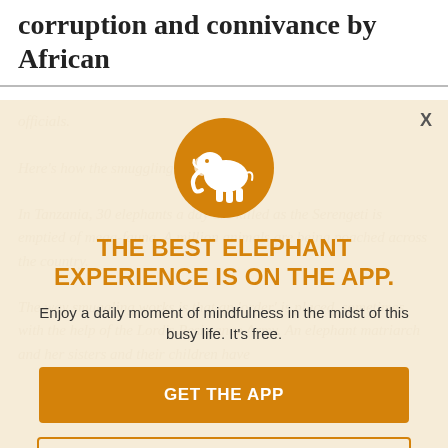pointing. There is ample evidence of the corruption and connivance by African
officials.
Here's how the smuggling trade operates:
In Tanzania, 30 elephants a day are killed as the Serengeti is emptied of mega-fauna. A million animals are being poached across the country.
The way smuggling works is that an 'order' is placed, sometimes with the help of the Lord's Resistance Army. An elephant matriarch and her sisters and children have...
[Figure (logo): White elephant silhouette on an orange/golden circle, representing an elephant app logo]
THE BEST ELEPHANT EXPERIENCE IS ON THE APP.
Enjoy a daily moment of mindfulness in the midst of this busy life. It's free.
GET THE APP
OPEN IN APP